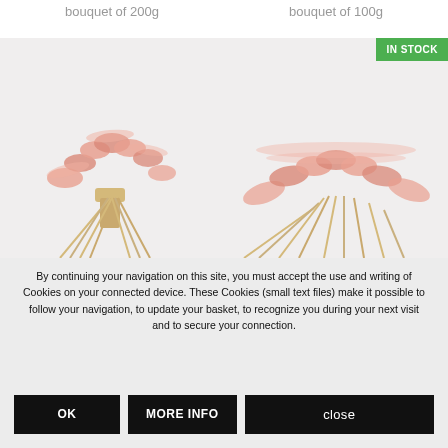bouquet of 200g
bouquet of 100g
[Figure (photo): Photo of a pink dried pampas grass bouquet of 200g tied with twine, on light background]
[Figure (photo): Photo of pink dried pampas grass bouquet of 100g on light background, with green IN STOCK badge]
By continuing your navigation on this site, you must accept the use and writing of Cookies on your connected device. These Cookies (small text files) make it possible to follow your navigation, to update your basket, to recognize you during your next visit and to secure your connection.
OK
MORE INFO
close